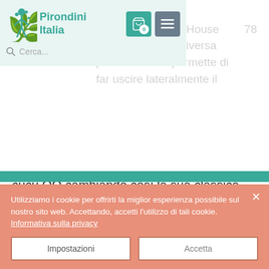Pirondini Italia — navigation overlay with cart (0) and menu buttons, search bar
tavolo.

La particolarità di House 78 è data dalla sua diversa profondità che permette di far uscire lateralmente il cucu QQ cambiando così la sua classica prospettiva. L'orologio viene proposto in colori RAL con il tetto in legno che lo rende elegante nel suo genere.
Utilizziamo i cookie per offrirti la miglior esperienza possibile sul nostro sito web. Accettando, accetti l'utilizzo di tali cookie. Informativa sulla privacy
Impostazioni
Accetta